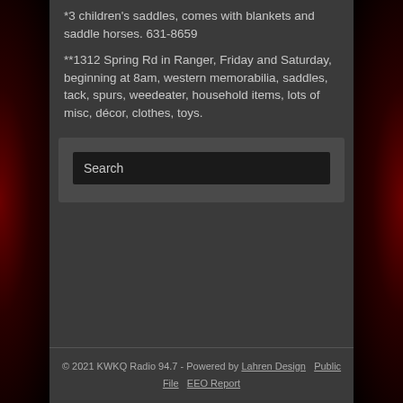*3 children's saddles, comes with blankets and saddle horses. 631-8659
**1312 Spring Rd in Ranger, Friday and Saturday, beginning at 8am, western memorabilia, saddles, tack, spurs, weedeater, household items, lots of misc, décor, clothes, toys.
Search
© 2021 KWKQ Radio 94.7 - Powered by Lahren Design  Public File  EEO Report